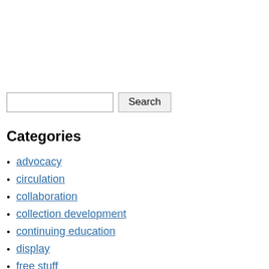Search [input field] [Search button]
Categories
advocacy
circulation
collaboration
collection development
continuing education
display
free stuff
fundraising
inclusive services